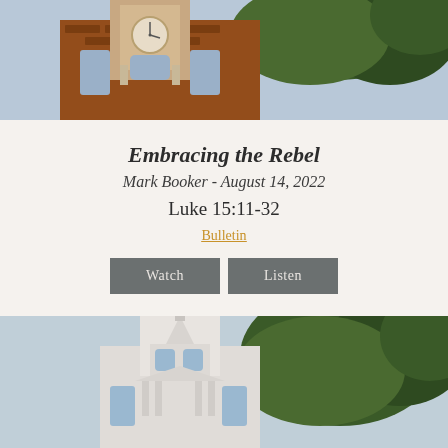[Figure (photo): Photograph of a red brick church with white clock tower steeple against a sky with green trees]
Embracing the Rebel
Mark Booker - August 14, 2022
Luke 15:11-32
Bulletin
[Figure (photo): Photograph of a white church steeple with ornate cupola and green trees against blue sky]